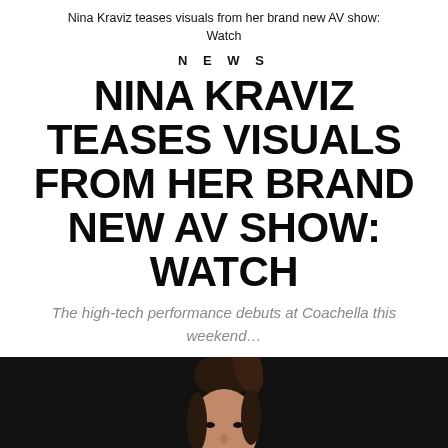Nina Kraviz teases visuals from her brand new AV show: Watch
NEWS
NINA KRAVIZ TEASES VISUALS FROM HER BRAND NEW AV SHOW: WATCH
The high-tech performance debuts at Coachella this weekend…
[Figure (photo): Portrait of a woman with dark hair pulled back, against a dark/black background, wearing a light-colored top, looking directly at camera]